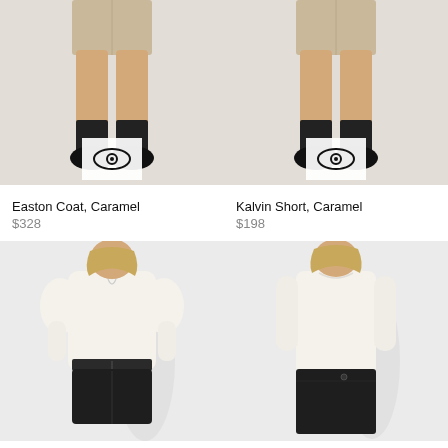[Figure (photo): Woman's lower body showing caramel/beige shorts, black socks, and black shoes. White square watermark with eye icon overlaid on feet area.]
[Figure (photo): Woman's lower body showing caramel/beige shorts, black socks, and black shoes. White square watermark with eye icon overlaid on feet area.]
Easton Coat, Caramel
$328
Kalvin Short, Caramel
$198
[Figure (photo): Woman wearing white satin blouse with keyhole neckline and puffed long sleeves, paired with black leather high-waist shorts.]
[Figure (photo): Woman wearing white long-sleeve top with black leather mini skirt.]